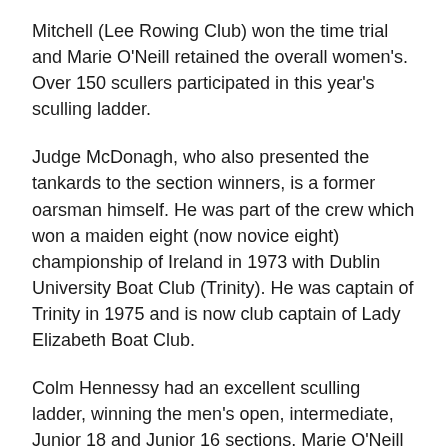Mitchell (Lee Rowing Club) won the time trial and Marie O'Neill retained the overall women's. Over 150 scullers participated in this year's sculling ladder.
Judge McDonagh, who also presented the tankards to the section winners, is a former oarsman himself. He was part of the crew which won a maiden eight (now novice eight) championship of Ireland in 1973 with Dublin University Boat Club (Trinity). He was captain of Trinity in 1975 and is now club captain of Lady Elizabeth Boat Club.
Colm Hennessy had an excellent sculling ladder, winning the men's open, intermediate, Junior 18 and Junior 16 sections. Marie O'Neill won the women's open and Masters A sections.
The 43rd Cork Sculling Ladder time trial takes place at the Marina course, Cork on Sunday, October 5th, 2014.